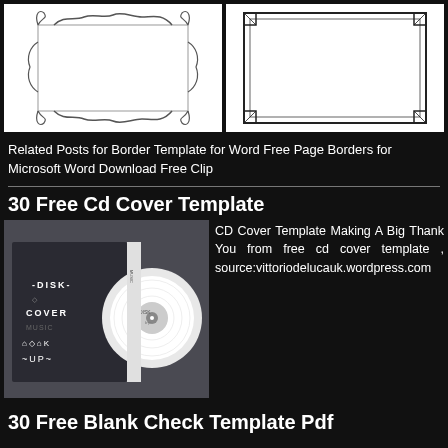[Figure (illustration): Two decorative page border templates on white background: left is a curly ornamental border, right is a simple rectangular border with corner decorations]
Related Posts for Border Template for Word Free Page Borders for Microsoft Word Download Free Clip
30 Free Cd Cover Template
[Figure (photo): A CD cover mockup photo showing a disk and cover design with text DISK COVER MOCK UP on dark background]
CD Cover Template Making A Big Thank You from free cd cover template , source:vittoriodelucauk.wordpress.com
30 Free Blank Check Template Pdf